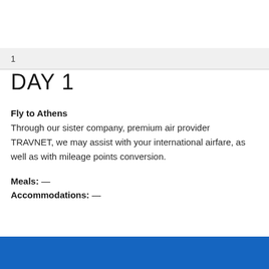1
DAY 1
Fly to Athens
Through our sister company, premium air provider TRAVNET, we may assist with your international airfare, as well as with mileage points conversion.
Meals: —
Accommodations: —
[Figure (photo): Blue bar at bottom of page with partial image visible]